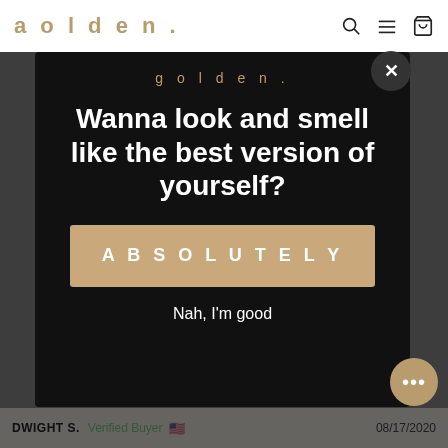aolden.
[Figure (screenshot): Modal popup on aolden. website with headline 'Wanna look and smell like the best version of yourself?', a tan CTA button labeled 'ABSOLUTELY', and a secondary link 'Nah, I'm good']
golden.
Wanna look and smell like the best version of yourself?
ABSOLUTELY
Nah, I'm good
DWIGHT S.  Verified Buyer  08/17/2020